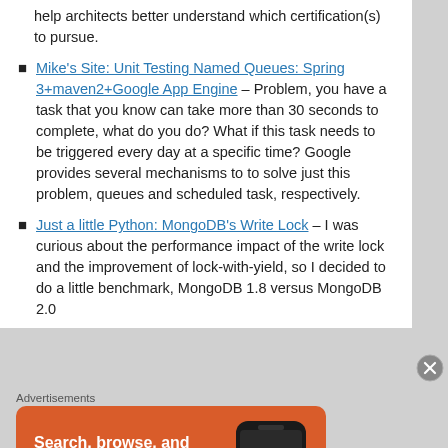help architects better understand which certification(s) to pursue.
Mike's Site: Unit Testing Named Queues: Spring 3+maven2+Google App Engine – Problem, you have a task that you know can take more than 30 seconds to complete, what do you do? What if this task needs to be triggered every day at a specific time? Google provides several mechanisms to to solve just this problem, queues and scheduled task, respectively.
Just a little Python: MongoDB's Write Lock – I was curious about the performance impact of the write lock and the improvement of lock-with-yield, so I decided to do a little benchmark, MongoDB 1.8 versus MongoDB 2.0
Advertisements
[Figure (infographic): DuckDuckGo advertisement banner: orange background with a smartphone showing DuckDuckGo logo, text 'Search, browse, and email with more privacy.' and a white button 'All in One Free App']